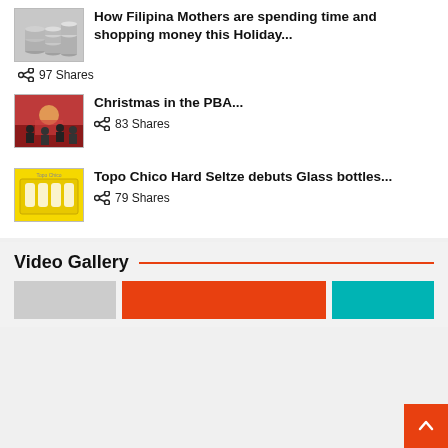[Figure (photo): Thumbnail of stacked coins/money]
How Filipina Mothers are spending time and shopping money this Holiday...
97 Shares
[Figure (photo): Thumbnail of PBA basketball celebration]
Christmas in the PBA...
83 Shares
[Figure (photo): Thumbnail of Topo Chico Hard Seltze yellow box]
Topo Chico Hard Seltze debuts Glass bottles...
79 Shares
Video Gallery
[Figure (photo): Video gallery thumbnails with orange and teal colored blocks]